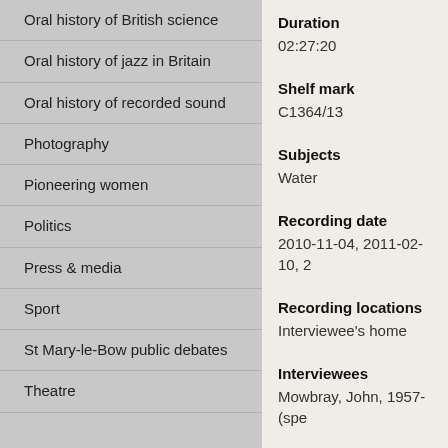Oral history of British science
Oral history of jazz in Britain
Oral history of recorded sound
Photography
Pioneering women
Politics
Press & media
Sport
St Mary-le-Bow public debates
Theatre
Duration
02:27:20
Shelf mark
C1364/13
Subjects
Water
Recording date
2010-11-04, 2011-02-10, 2...
Recording locations
Interviewee's home
Interviewees
Mowbray, John, 1957- (spe...
Interviewers
Gilmour, Alison (speaker, fe...